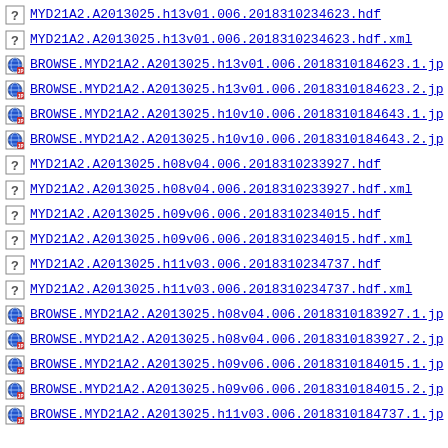MYD21A2.A2013025.h13v01.006.2018310234623.hdf
MYD21A2.A2013025.h13v01.006.2018310234623.hdf.xml
BROWSE.MYD21A2.A2013025.h13v01.006.2018310184623.1.jp
BROWSE.MYD21A2.A2013025.h13v01.006.2018310184623.2.jp
BROWSE.MYD21A2.A2013025.h10v10.006.2018310184643.1.jp
BROWSE.MYD21A2.A2013025.h10v10.006.2018310184643.2.jp
MYD21A2.A2013025.h08v04.006.2018310233927.hdf
MYD21A2.A2013025.h08v04.006.2018310233927.hdf.xml
MYD21A2.A2013025.h09v06.006.2018310234015.hdf
MYD21A2.A2013025.h09v06.006.2018310234015.hdf.xml
MYD21A2.A2013025.h11v03.006.2018310234737.hdf
MYD21A2.A2013025.h11v03.006.2018310234737.hdf.xml
BROWSE.MYD21A2.A2013025.h08v04.006.2018310183927.1.jp
BROWSE.MYD21A2.A2013025.h08v04.006.2018310183927.2.jp
BROWSE.MYD21A2.A2013025.h09v06.006.2018310184015.1.jp
BROWSE.MYD21A2.A2013025.h09v06.006.2018310184015.2.jp
BROWSE.MYD21A2.A2013025.h11v03.006.2018310184737.1.jp